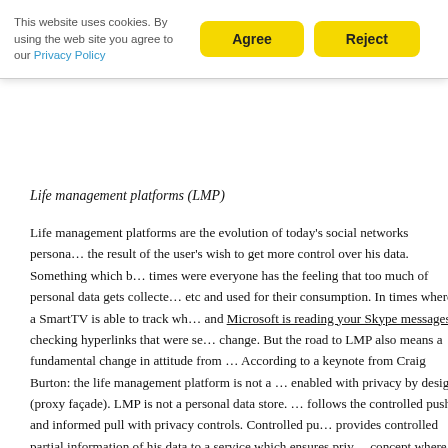This website uses cookies. By using the web site you agree to our Privacy Policy
Agree
Reject
Life management platforms (LMP)
Life management platforms are the evolution of today's social networks personal… the result of the user's wish to get more control over his data. Something which b… times were everyone has the feeling that too much of personal data gets collecte… etc and used for their consumption. In times where a SmartTV is able to track wh… and Microsoft is reading your Skype messages checking hyperlinks that were se… change. But the road to LMP also means a fundamental change in attitude from … According to a keynote from Craig Burton: the life management platform is not a … enabled with privacy by design (proxy façade). LMP is not a personal data store. … follows the controlled push and informed pull with privacy controls. Controlled pu… provides controlled partial information of his data to a service which ensures priv… concept where a user requests information from different sources guarantying co… competitors of the service. Issues on the success of LMPs arise with the need th… sensitive areas – a schema must be defined. According to Burton's rule of thumb… schema needs 1 year. Adding 10 elements lasts 10 years. A possible solution mi… cloud directory is schema independent.